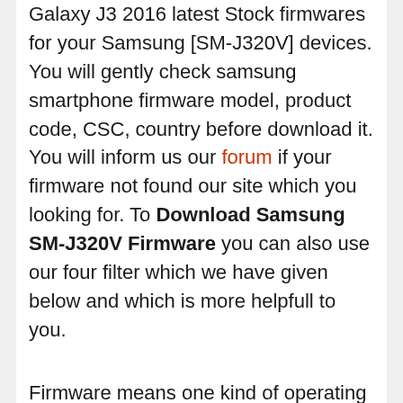Galaxy J3 2016 latest Stock firmwares for your Samsung [SM-J320V] devices. You will gently check samsung smartphone firmware model, product code, CSC, country before download it. You will inform us our forum if your firmware not found our site which you looking for. To Download Samsung SM-J320V Firmware you can also use our four filter which we have given below and which is more helpfull to you.
Firmware means one kind of operating system on an application that control how do a samsung Galaxy J3 [SM-J320V] smartphone work. It is very computable to a device to work with. Thats way it is collied firmware